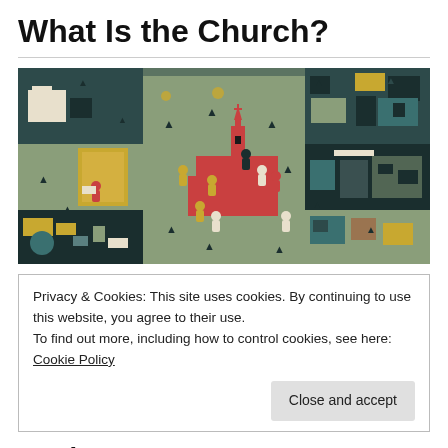What Is the Church?
[Figure (illustration): Illustrated map-style image showing a red church building in the center surrounded by geometric buildings, trees (pine tree icons), and human figure icons in various colors (red, white, dark, gold) on a muted sage green background, with surrounding panels showing other city buildings and shapes in teal, dark navy, gold, and neutral tones.]
Privacy & Cookies: This site uses cookies. By continuing to use this website, you agree to their use.
To find out more, including how to control cookies, see here: Cookie Policy
Close and accept
Jonathan Leeman